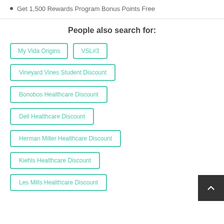Get 1,500 Rewards Program Bonus Points Free
People also search for:
My Vida Origins
VSL#3
Vineyard Vines Student Discount
Bonobos Healthcare Discount
Dell Healthcare Discount
Herman Miller Healthcare Discount
Kiehls Healthcare Discount
Les Mills Healthcare Discount